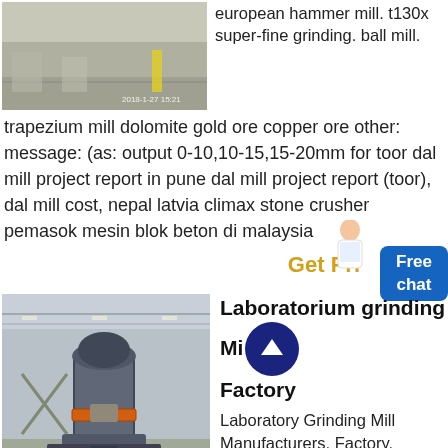[Figure (photo): Warehouse/factory floor photo with timestamp 2018-1-27 15:21]
european hammer mill. t130x super-fine grinding. ball mill. trapezium mill dolomite gold ore copper ore other: message: (as: output 0-10,10-15,15-20mm for toor dal mill project report in pune dal mill project report (toor), dal mill cost, nepal latvia climax stone crusher pemasok mesin blok beton di malaysia
Get Price
[Figure (photo): Industrial grinding mill machine on factory floor]
Laboratorium grinding Mill Factory
Laboratory Grinding Mill Manufacturers, Factory, Suppliers From China, Our professional technological team will be wholeheartedly at your services. We sincerely welcome you to definitely take a look at our website